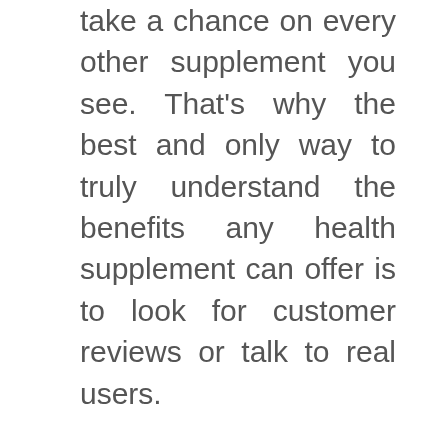take a chance on every other supplement you see. That's why the best and only way to truly understand the benefits any health supplement can offer is to look for customer reviews or talk to real users.
Thankfully, being a registered health practitioner comes with its perks. It means I have easy access to customers who have used the Java Burn supplement before. So here's what I learned from poring through hundreds of Java Burn customer reviews and interviewing a few dozen real Java Burn users: